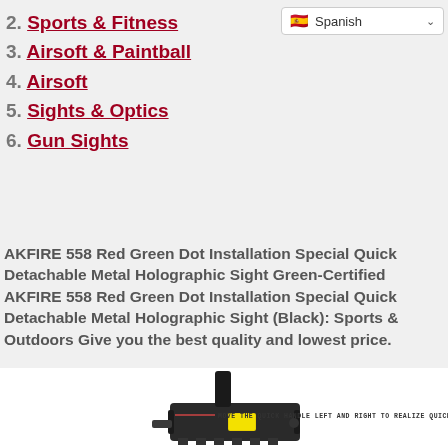2. Sports & Fitness
3. Airsoft & Paintball
4. Airsoft
5. Sights & Optics
6. Gun Sights
Spanish (language selector)
AKFIRE 558 Red Green Dot Installation Special Quick Detachable Metal Holographic Sight Green-Certified AKFIRE 558 Red Green Dot Installation Special Quick Detachable Metal Holographic Sight (Black): Sports & Outdoors Give you the best quality and lowest price.
[Figure (photo): Product photo of AKFIRE 558 holographic gun sight in black, showing the quick-release mount mechanism. Text annotation reads: MOVE THE QUICK HANDLE LEFT AND RIGHT TO REALIZE QUICK RELEASE/LOCK]